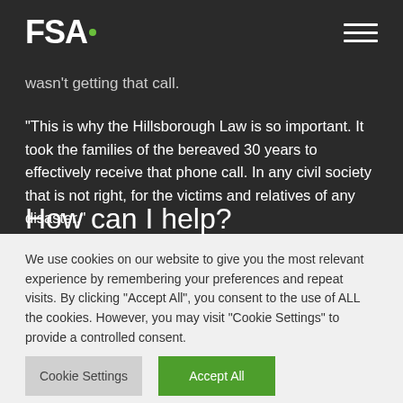FSA.
wasn't getting that call.
“This is why the Hillsborough Law is so important. It took the families of the bereaved 30 years to effectively receive that phone call. In any civil society that is not right, for the victims and relatives of any disaster.”
How can I help?
We use cookies on our website to give you the most relevant experience by remembering your preferences and repeat visits. By clicking “Accept All”, you consent to the use of ALL the cookies. However, you may visit "Cookie Settings" to provide a controlled consent.